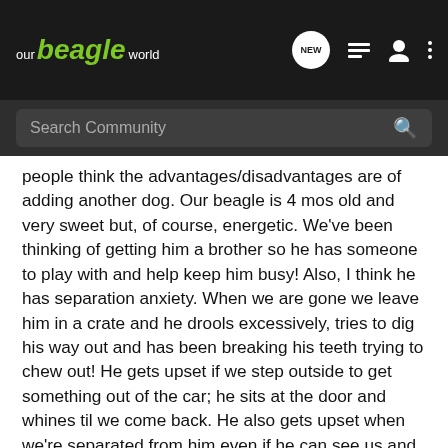our beagle world
Search Community
people think the advantages/disadvantages are of adding another dog. Our beagle is 4 mos old and very sweet but, of course, energetic. We've been thinking of getting him a brother so he has someone to play with and help keep him busy! Also, I think he has separation anxiety. When we are gone we leave him in a crate and he drools excessively, tries to dig his way out and has been breaking his teeth trying to chew out! He gets upset if we step outside to get something out of the car; he sits at the door and whines til we come back. He also gets upset when we're separated from him even if he can see us and reach us like when we're in the shower. Sometimes I'll even leave the curtain open so he can see that I'm still there and he just sits there and whines at me till I get out! Once we get home/near him again he's totally sweet and normal. Anyway, I was thinking that maybe another dog would help him to feel like